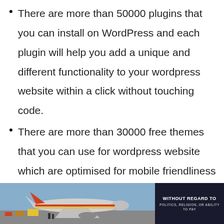There are more than 50000 plugins that you can install on WordPress and each plugin will help you add a unique and different functionality to your wordpress website within a click without touching code.
There are more than 30000 free themes that you can use for wordpress website which are optimised for mobile friendliness and speed.
WordPress is so flexible that you can easily integrated with external softwares like email
[Figure (photo): Advertisement banner showing an airplane being loaded with cargo, with a dark overlay text box reading 'WITHOUT REGARD TO POLITICS, RELIGION, OR ABILITY TO PAY']